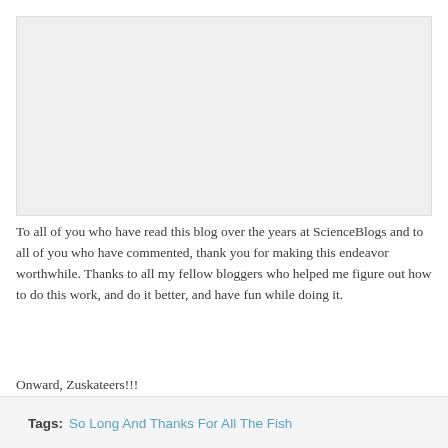[Figure (photo): Gray placeholder image area at the top of the page]
To all of you who have read this blog over the years at ScienceBlogs and to all of you who have commented, thank you for making this endeavor worthwhile. Thanks to all my fellow bloggers who helped me figure out how to do this work, and do it better, and have fun while doing it.
Onward, Zuskateers!!!
Tags: So Long And Thanks For All The Fish